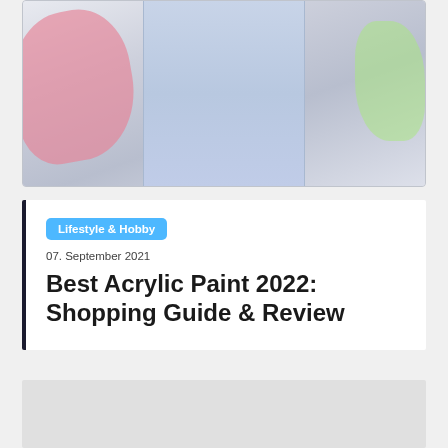[Figure (photo): Top portion of a blog article card showing a background image with a person in denim overalls, pink bag on the left, and green element on the right, with muted/faded colors]
Lifestyle & Hobby
07. September 2021
Best Acrylic Paint 2022: Shopping Guide & Review
[Figure (other): Bottom gray card area, partially visible]